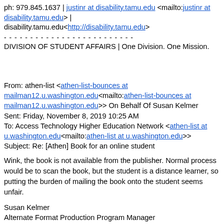ph: 979.845.1637 | justinr at disability.tamu.edu <mailto:justinr at disability.tamu.edu> | disability.tamu.edu<http://disability.tamu.edu>
- - - - - - - - - - - - - - - - - - - - - - - - -
DIVISION OF STUDENT AFFAIRS | One Division. One Mission.
From: athen-list <athen-list-bounces at mailman12.u.washington.edu<mailto:athen-list-bounces at mailman12.u.washington.edu>> On Behalf Of Susan Kelmer
Sent: Friday, November 8, 2019 10:25 AM
To: Access Technology Higher Education Network <athen-list at u.washington.edu<mailto:athen-list at u.washington.edu>>
Subject: Re: [Athen] Book for an online student
Wink, the book is not available from the publisher. Normal process would be to scan the book, but the student is a distance learner, so putting the burden of mailing the book onto the student seems unfair.
Susan Kelmer
Alternate Format Production Program Manager
Disability Services